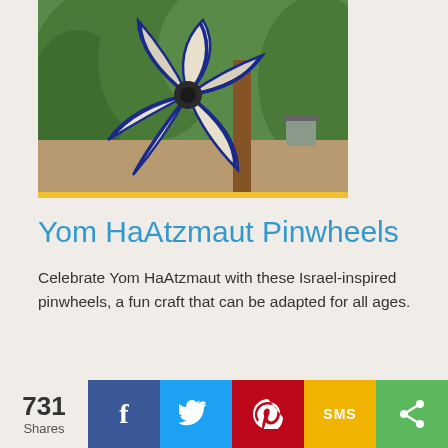[Figure (photo): A blue and white pinwheel with decorative blue trim on the blades, set against a green garden background with trees and a wooden post visible.]
Yom HaAtzmaut Pinwheels
Celebrate Yom HaAtzmaut with these Israel-inspired pinwheels, a fun craft that can be adapted for all ages.
[Figure (photo): A garden scene with blue and white flowers against a bright background.]
731 Shares